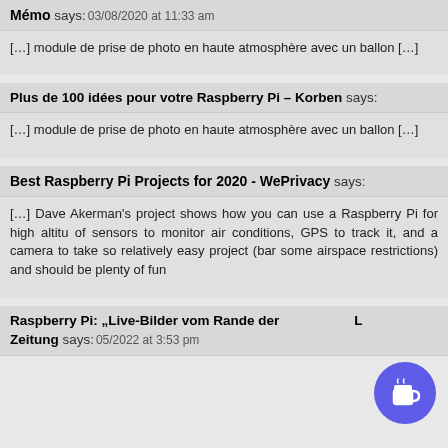Mémo says: 03/08/2020 at 11:33 am
[…] module de prise de photo en haute atmosphère avec un ballon […]
Plus de 100 idées pour votre Raspberry Pi – Korben says:
[…] module de prise de photo en haute atmosphère avec un ballon […]
Best Raspberry Pi Projects for 2020 - WePrivacy says:
[…] Dave Akerman's project shows how you can use a Raspberry Pi for high altitu of sensors to monitor air conditions, GPS to track it, and a camera to take so relatively easy project (bar some airspace restrictions) and should be plenty of fun
Raspberry Pi: „Live-Bilder vom Rande der … Zeitung says: 05/2022 at 3:53 pm